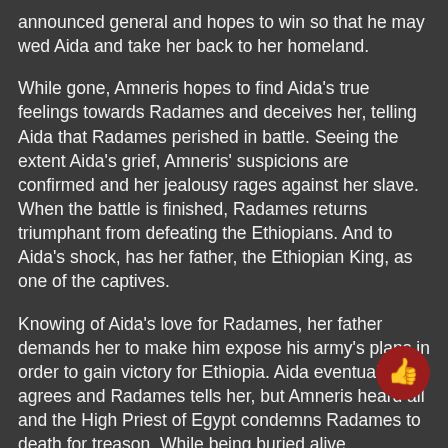announced general and hopes to win so that he may wed Aida and take her back to her homeland.
While gone, Amneris hopes to find Aida's true feelings towards Radames and deceives her, telling Aida that Radames perished in battle. Seeing the extent Aida's grief, Amneris' suspicions are confirmed and her jealousy rages against her slave. When the battle is finished, Radames returns triumphant from defeating the Ethiopians. And to Aida's shock, has her father, the Ethiopian King, as one of the captives.
Knowing of Aida's love for Radames, her father demands her to make him expose his army's plans in order to gain victory for Ethiopia. Aida eventually agrees and Radames tells her, but Amneris heard all and the High Priest of Egypt condemns Radames to death for treason. While being buried alive, Radames hopes that his love has found her homeland, but is surprised when she is in the tomb with him. As they sing a farewell to earth, Amneris prays for peace above the tomb.
The premiere of Aida at the San Diego Civic Theatre was a